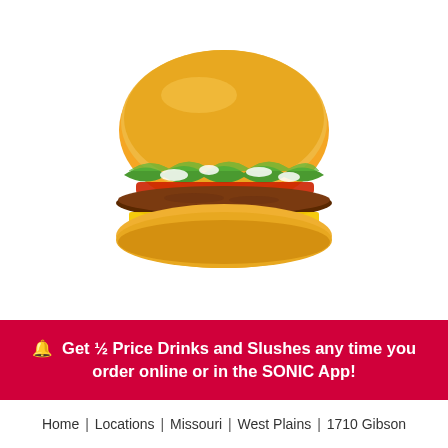[Figure (photo): A Sonic cheeseburger with lettuce, tomato, onion, pickles, and a slice of yellow American cheese on a golden bun, photographed on a white background.]
🔔  Get ½ Price Drinks and Slushes any time you order online or in the SONIC App!
Home | Locations | Missouri | West Plains | 1710 Gibson